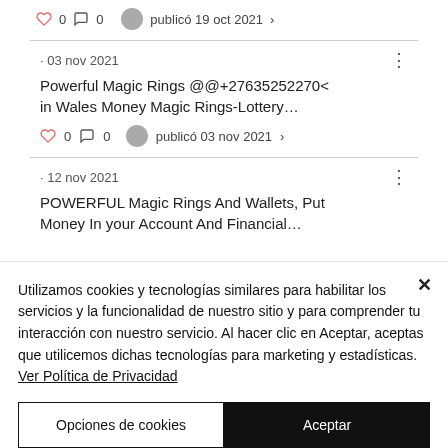♡ 0  □ 0   publicó 19 oct 2021 ›
· 03 nov 2021
Powerful Magic Rings @@+27635252270< in Wales Money Magic Rings-Lottery…
♡ 0  □ 0   publicó 03 nov 2021 ›
· 12 nov 2021
POWERFUL Magic Rings And Wallets, Put Money In your Account And Financial…
Utilizamos cookies y tecnologías similares para habilitar los servicios y la funcionalidad de nuestro sitio y para comprender tu interacción con nuestro servicio. Al hacer clic en Aceptar, aceptas que utilicemos dichas tecnologías para marketing y estadísticas. Ver Política de Privacidad
Opciones de cookies
Aceptar